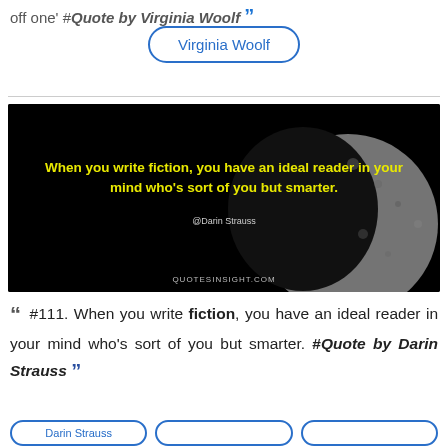off one' #Quote by Virginia Woolf "
Virginia Woolf
[Figure (illustration): Dark image with a crescent moon on black background. Yellow bold text reads: 'When you write fiction, you have an ideal reader in your mind who's sort of you but smarter.' Attribution: @Darin Strauss. Watermark: QUOTESINSIGHT.COM]
" #111. When you write fiction, you have an ideal reader in your mind who's sort of you but smarter. #Quote by Darin Strauss "
Darin Strauss